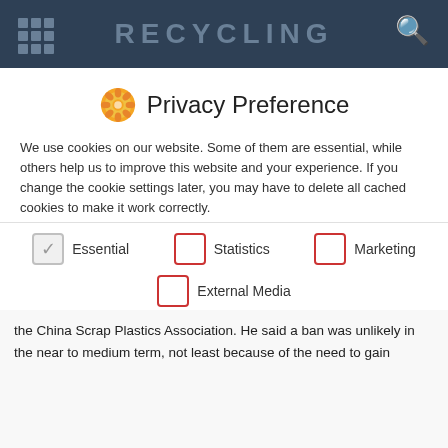RECYCLING
Privacy Preference
We use cookies on our website. Some of them are essential, while others help us to improve this website and your experience. If you change the cookie settings later, you may have to delete all cached cookies to make it work correctly.
If you are under 16 and wish to give consent to optional services, you must ask your legal guardians for permission.
We use cookies and other technologies on our website. Some of them are essential, while others help us to improve this website and your experience. Personal data may be processed (e.g. IP addresses), for example for personalized ads and content or ad and content measurement. You can find more information about the
Essential
Statistics
Marketing
External Media
the China Scrap Plastics Association. He said a ban was unlikely in the near to medium term, not least because of the need to gain